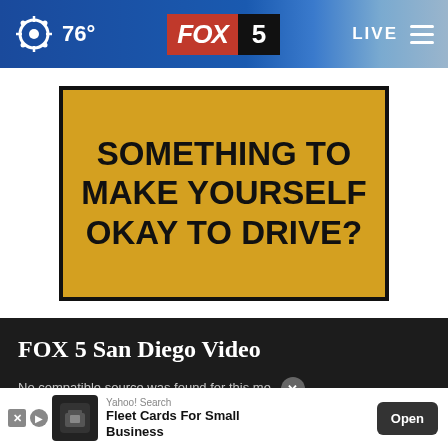76° FOX 5 LIVE
[Figure (screenshot): Advertisement with gold/yellow background and black border reading: SOMETHING TO MAKE YOURSELF OKAY TO DRIVE?]
FOX 5 San Diego Video
No compatible source was found for this me
[Figure (screenshot): Yahoo! Search advertisement for Fleet Cards For Small Business with Open button]